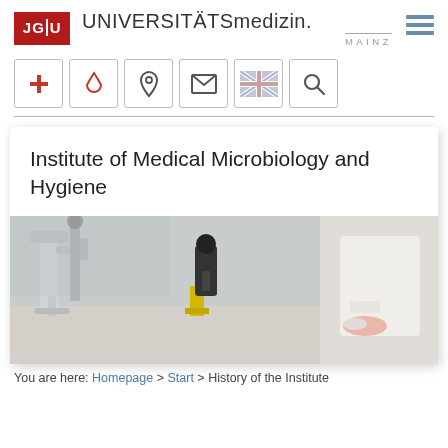JGU UNIVERSITÄTSMEDIZIN. MAINZ
[Figure (logo): JGU red square logo with text JG|U]
[Figure (infographic): Navigation icon bar with icons: red cross, blood drop, location pin, envelope, UK flag, search magnifier]
Institute of Medical Microbiology and Hygiene
[Figure (photo): Laboratory photo showing microscopes and a researcher in a white lab coat working with a petri dish]
You are here: Homepage > Start > History of the Institute